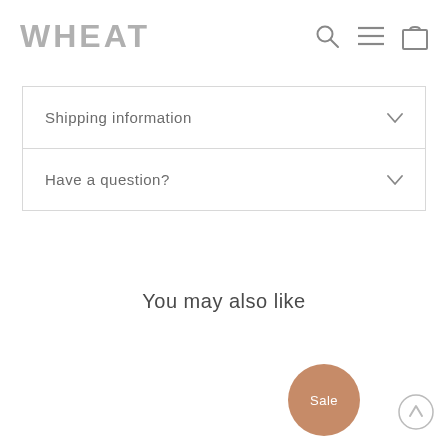WHEAT
Shipping information
Have a question?
You may also like
[Figure (other): Sale badge - circular brown button with white text 'Sale']
[Figure (other): Scroll-to-top circular button with upward arrow]